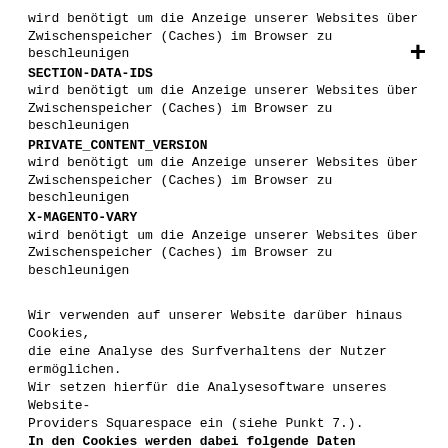wird benötigt um die Anzeige unserer Websites über Zwischenspeicher (Caches) im Browser zu beschleunigen
SECTION-DATA-IDS
wird benötigt um die Anzeige unserer Websites über Zwischenspeicher (Caches) im Browser zu beschleunigen
PRIVATE_CONTENT_VERSION
wird benötigt um die Anzeige unserer Websites über Zwischenspeicher (Caches) im Browser zu beschleunigen
X-MAGENTO-VARY
wird benötigt um die Anzeige unserer Websites über Zwischenspeicher (Caches) im Browser zu beschleunigen
Wir verwenden auf unserer Website darüber hinaus Cookies, die eine Analyse des Surfverhaltens der Nutzer ermöglichen. Wir setzen hierfür die Analysesoftware unseres Website-Providers Squarespace ein (siehe Punkt 7.).
In den Cookies werden dabei folgende Daten gespeichert und übermittelt:
Cookie Name
Max. Speicherdauer
Cookie Beschreibung/Cookie Inhalt
_pk_ref
6 Monate